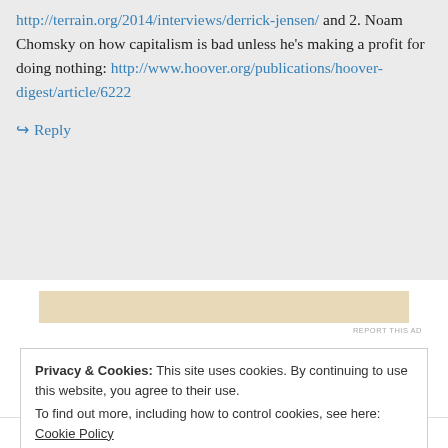http://terrain.org/2014/interviews/derrick-jensen/ and 2. Noam Chomsky on how capitalism is bad unless he's making a profit for doing nothing: http://www.hoover.org/publications/hoover-digest/article/6222
↳ Reply
[Figure (other): Advertisement banner placeholder (tan/beige background)]
REPORT THIS AD
Privacy & Cookies: This site uses cookies. By continuing to use this website, you agree to their use.
To find out more, including how to control cookies, see here: Cookie Policy
Close and accept
I fully agree that we're all complicit by virtue of